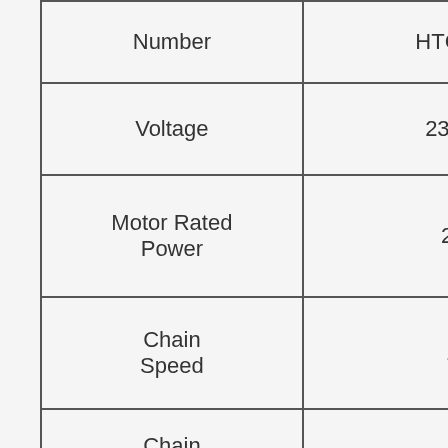| Specification | Value |
| --- | --- |
| Number | HTCS2480L |
| Voltage | 230 -50Hz |
| Motor Rated Power | 2400W |
| Chain Speed | 15m/s |
| Chain Stopping Time (Kickback) | 0.15 Seconds |
| Max Cutting Length | 385mm / 38.5cm |